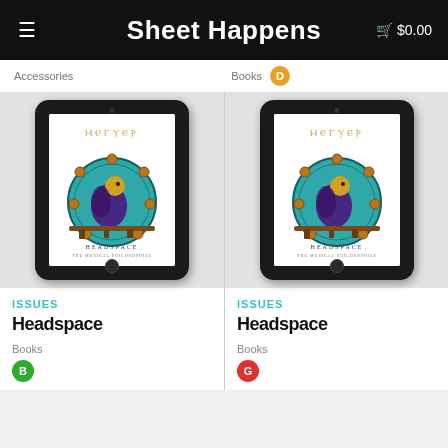Sheet Happens  $0.00
Accessories
Books
[Figure (screenshot): Headspace book cover displayed on a tablet mockup showing a peacock-like bird on a decorative teal circular mandala background]
ISSUES
Headspace
Books
B
[Figure (screenshot): Headspace book cover displayed on a tablet mockup showing a peacock-like bird on a decorative teal circular mandala background]
ISSUES
Headspace
Books
G